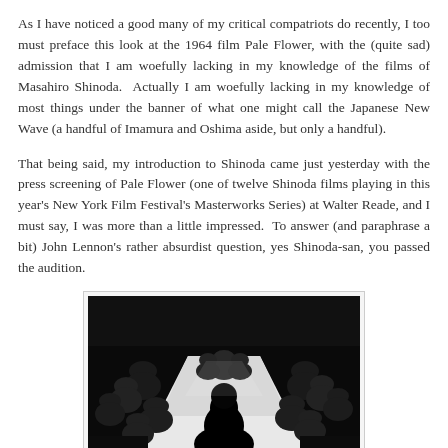As I have noticed a good many of my critical compatriots do recently, I too must preface this look at the 1964 film Pale Flower, with the (quite sad) admission that I am woefully lacking in my knowledge of the films of Masahiro Shinoda.  Actually I am woefully lacking in my knowledge of most things under the banner of what one might call the Japanese New Wave (a handful of Imamura and Oshima aside, but only a handful).
That being said, my introduction to Shinoda came just yesterday with the press screening of Pale Flower (one of twelve Shinoda films playing in this year's New York Film Festival's Masterworks Series) at Walter Reade, and I must say, I was more than a little impressed.  To answer (and paraphrase a bit) John Lennon's rather absurdist question, yes Shinoda-san, you passed the audition.
[Figure (photo): Black and white film still from Pale Flower (1964) showing figures seated around a long table in a dark room, viewed from behind a silhouetted figure in the foreground.]
Pale Flower is one of those stunning discoveries one makes that, much